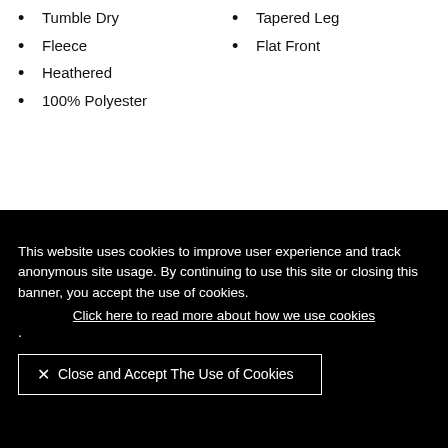Tumble Dry
Tapered Leg
Fleece
Flat Front
Heathered
100% Polyester
This website uses cookies to improve user experience and track anonymous site usage. By continuing to use this site or closing this banner, you accept the use of cookies. Click here to read more about how we use cookies.
✕ Close and Accept The Use of Cookies